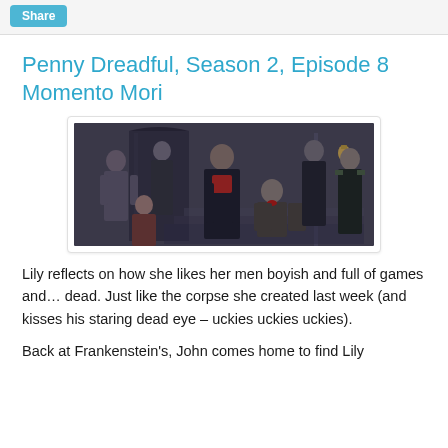Share
Penny Dreadful, Season 2, Episode 8
Momento Mori
[Figure (photo): Cast photo of Penny Dreadful showing multiple actors posed in Victorian-era costumes on a dark staircase set]
Lily reflects on how she likes her men boyish and full of games and… dead. Just like the corpse she created last week (and kisses his staring dead eye – uckies uckies uckies).
Back at Frankenstein's, John comes home to find Lily